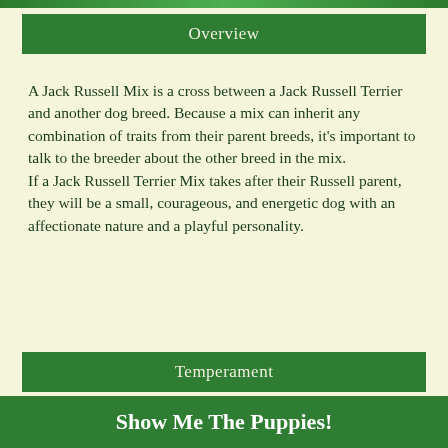Overview
A Jack Russell Mix is a cross between a Jack Russell Terrier and another dog breed. Because a mix can inherit any combination of traits from their parent breeds, it's important to talk to the breeder about the other breed in the mix.
If a Jack Russell Terrier Mix takes after their Russell parent, they will be a small, courageous, and energetic dog with an affectionate nature and a playful personality.
Temperament
Adaptability
Show Me The Puppies!